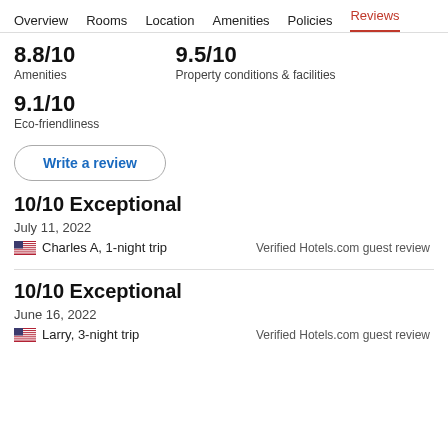Overview  Rooms  Location  Amenities  Policies  Reviews
8.8/10
Amenities
9.5/10
Property conditions & facilities
9.1/10
Eco-friendliness
Write a review
10/10 Exceptional
July 11, 2022
Charles A, 1-night trip
Verified Hotels.com guest review
10/10 Exceptional
June 16, 2022
Larry, 3-night trip
Verified Hotels.com guest review